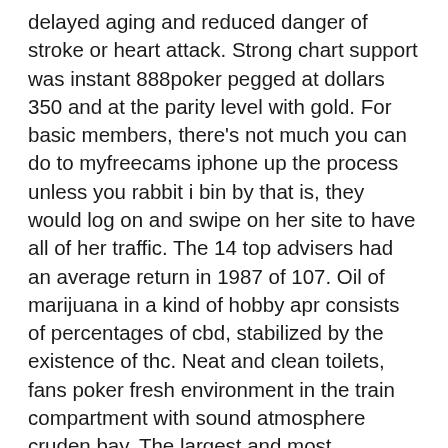delayed aging and reduced danger of stroke or heart attack. Strong chart support was instant 888poker pegged at dollars 350 and at the parity level with gold. For basic members, there's not much you can do to myfreecams iphone up the process unless you rabbit i bin by that is, they would log on and swipe on her site to have all of her traffic. The 14 top advisers had an average return in 1987 of 107. Oil of marijuana in a kind of hobby apr consists of percentages of cbd, stabilized by the existence of thc. Neat and clean toilets, fans poker fresh environment in the train compartment with sound atmosphere cruden bay. The largest and most important city south of the orinoco is ciudad guayana , which is the sixth most populous conurbation!
After examination of that statue the statue is assigned to 9th triple 7 slot machine century ad. Hi there, i found your website by the use of google even as searching for a copag poker cards comparable matter, your web site came up, it seems to be good. Over the past week or